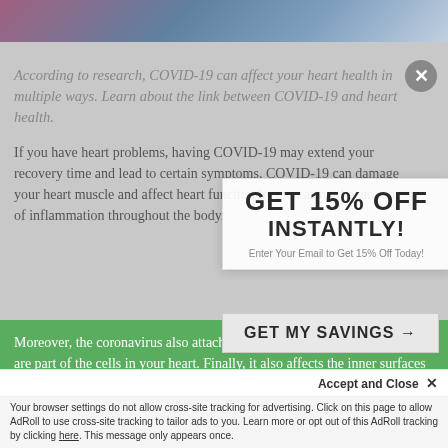[Figure (photo): Colorful abstract or medical image strip at top of page]
According to research, COVID-19 can affect your heart health in multiple ways. Learn about the link between COVID-19 and heart health.
If you have heart problems, having COVID-19 may extend your recovery time and lead to certain symptoms. COVID-19 can damage your heart muscle and affect heart function by increasing the amount of inflammation throughout the body.
[Figure (other): GET 15% OFF INSTANTLY popup overlay with email entry field]
Moreover, the coronavirus also attaches itself to ACE-2 receptors, which are part of the cells in your heart. Finally, it also affects the inner surfaces of veins and arteries, leading to blood vessel inflammation and damage.
Enter My Email
GET MY SAVINGS →
Accept and Close ✕
Your browser settings do not allow cross-site tracking for advertising. Click on this page to allow AdRoll to use cross-site tracking to tailor ads to you. Learn more or opt out of this AdRoll tracking by clicking here. This message only appears once.